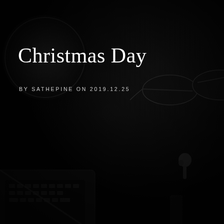[Figure (photo): Dark background photograph showing Apple AirPods, glasses, a laptop, and other tech accessories arranged on a dark surface, rendered in near-black tones with subtle detail.]
Christmas Day
BY SATHEPINE ON 2019.12.25